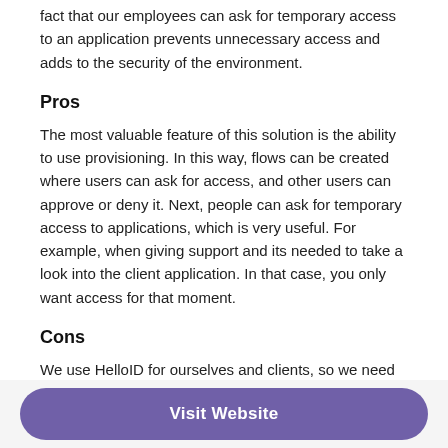fact that our employees can ask for temporary access to an application prevents unnecessary access and adds to the security of the environment.
Pros
The most valuable feature of this solution is the ability to use provisioning. In this way, flows can be created where users can ask for access, and other users can approve or deny it. Next, people can ask for temporary access to applications, which is very useful. For example, when giving support and its needed to take a look into the client application. In that case, you only want access for that moment.
Cons
We use HelloID for ourselves and clients, so we need to manage a lot of client environments at once. Functionality to manage this situation is not yet available.
Visit Website